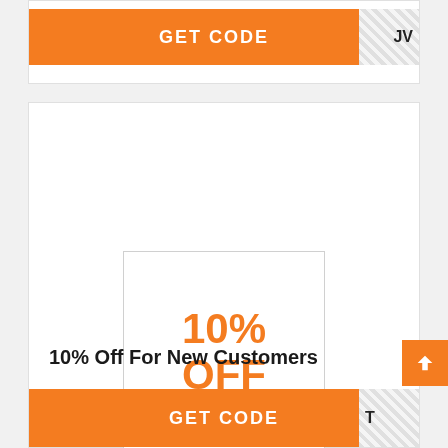[Figure (screenshot): Orange GET CODE button with hatched code reveal area showing partial text 'JV' at top of page]
[Figure (infographic): White box with orange bold text reading '10% OFF' centered inside a light-bordered square]
10% Off For New Customers
[Figure (screenshot): Orange GET CODE button at bottom with hatched code reveal area showing partial text 'T', and orange scroll-to-top button with arrow icon on the right]